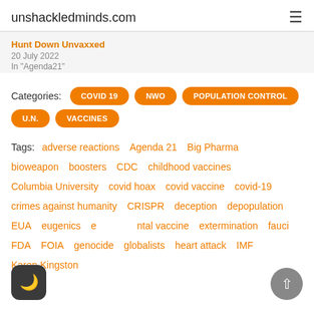unshackledminds.com
Hunt Down Unvaxxed
20 July 2022
In "Agenda21"
Categories: COVID 19  NWO  POPULATION CONTROL  U.N.  VACCINES
Tags: adverse reactions  Agenda 21  Big Pharma  bioweapon  boosters  CDC  childhood vaccines  Columbia University  covid hoax  covid vaccine  covid-19  crimes against humanity  CRISPR  deception  depopulation  EUA  eugenics  experimental vaccine  extermination  fauci  FDA  FOIA  genocide  globalists  heart attack  IMF  Karen Kingston